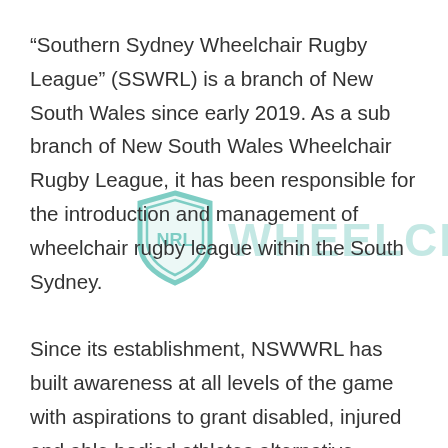[Figure (logo): NRL Wheelchair watermark logo with shield shape containing 'NRL' text and 'WHEELCHAIR' text to the right, rendered in light teal/green color as a background watermark]
“Southern Sydney Wheelchair Rugby League” (SSWRL) is a branch of New South Wales since early 2019. As a sub branch of New South Wales Wheelchair Rugby League, it has been responsible for the introduction and management of wheelchair rugby league within the South Sydney. Since its establishment, NSWWRL has built awareness at all levels of the game with aspirations to grant disabled, injured and able bodied athletes alternative opportunities to play rugby league. NSWWRL is also an affiliated member of New South Wales Rugby League, who has been a great supporter of establishing all forms of disability